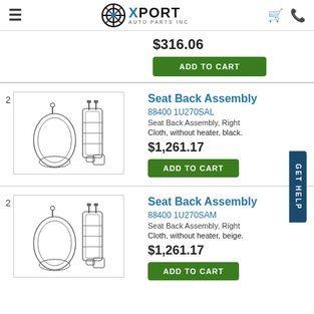Xport Auto Parts Inc
$316.06
ADD TO CART
Seat Back Assembly
88400 1U270SAL
Seat Back Assembly, Right
Cloth, without heater, black.
$1,261.17
ADD TO CART
Seat Back Assembly
88400 1U270SAM
Seat Back Assembly, Right
Cloth, without heater, beige.
$1,261.17
ADD TO CART